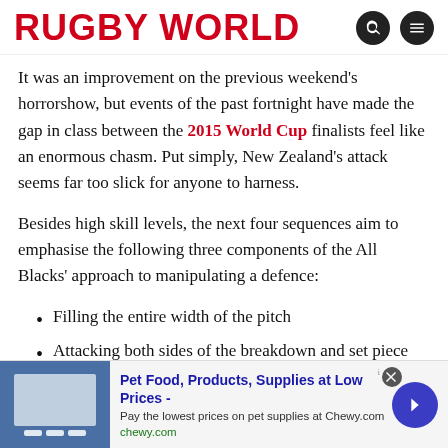RUGBY WORLD
It was an improvement on the previous weekend’s horrorshow, but events of the past fortnight have made the gap in class between the 2015 World Cup finalists feel like an enormous chasm. Put simply, New Zealand’s attack seems far too slick for anyone to harness.
Besides high skill levels, the next four sequences aim to emphasise the following three components of the All Blacks’ approach to manipulating a defence:
Filling the entire width of the pitch
Attacking both sides of the breakdown and set piece
Adapting to situations with an acute awareness of